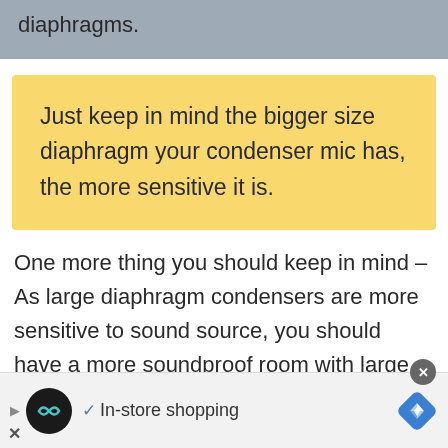diaphragms.
Just keep in mind the bigger size diaphragm your condenser mic has, the more sensitive it is.
One more thing you should keep in mind – As large diaphragm condensers are more sensitive to sound source, you should have a more soundproof room with large diaphragm
✓ In-store shopping